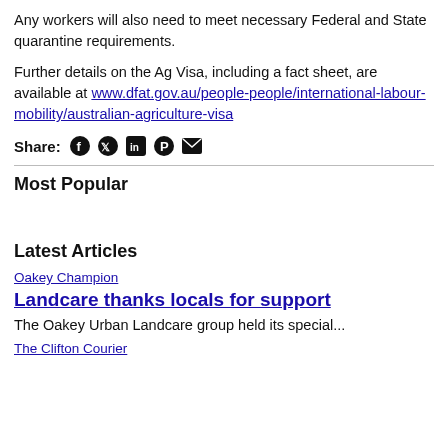Any workers will also need to meet necessary Federal and State quarantine requirements.
Further details on the Ag Visa, including a fact sheet, are available at www.dfat.gov.au/people-people/international-labour-mobility/australian-agriculture-visa
Share: [Facebook] [Twitter] [LinkedIn] [Pinterest] [Email]
Most Popular
Latest Articles
Oakey Champion
Landcare thanks locals for support
The Oakey Urban Landcare group held its special...
The Clifton Courier